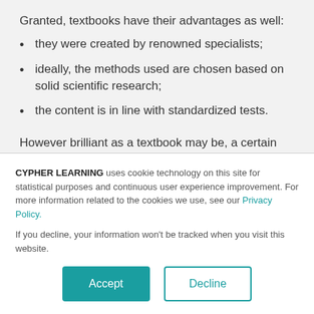Granted, textbooks have their advantages as well:
they were created by renowned specialists;
ideally, the methods used are chosen based on solid scientific research;
the content is in line with standardized tests.
However brilliant as a textbook may be, a certain approach is not always in line either with the teacher's
CYPHER LEARNING uses cookie technology on this site for statistical purposes and continuous user experience improvement. For more information related to the cookies we use, see our Privacy Policy.
If you decline, your information won't be tracked when you visit this website.